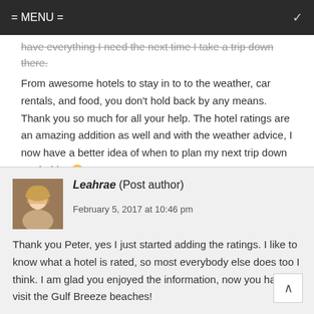= MENU =
have everything I need the next time I take a trip down there. From awesome hotels to stay in to to the weather, car rentals, and food, you don't hold back by any means. Thank you so much for all your help. The hotel ratings are an amazing addition as well and with the weather advice, I now have a better idea of when to plan my next trip down to Florida! 🙂
Reply ↓
Leahrae (Post author)
February 5, 2017 at 10:46 pm
Thank you Peter, yes I just started adding the ratings. I like to know what a hotel is rated, so most everybody else does too I think. I am glad you enjoyed the information, now you have to visit the Gulf Breeze beaches!
Reply ↓